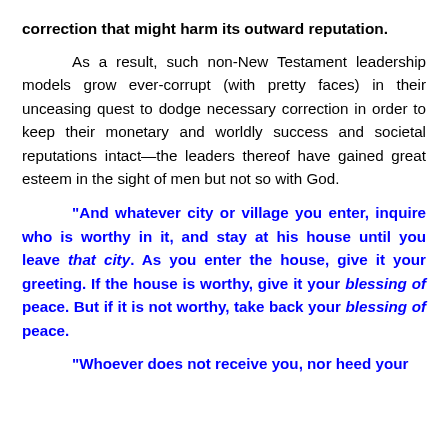correction that might harm its outward reputation.
As a result, such non-New Testament leadership models grow ever-corrupt (with pretty faces) in their unceasing quest to dodge necessary correction in order to keep their monetary and worldly success and societal reputations intact—the leaders thereof have gained great esteem in the sight of men but not so with God.
“And whatever city or village you enter, inquire who is worthy in it, and stay at his house until you leave that city. As you enter the house, give it your greeting. If the house is worthy, give it your blessing of peace. But if it is not worthy, take back your blessing of peace.
“Whoever does not receive you, nor heed your